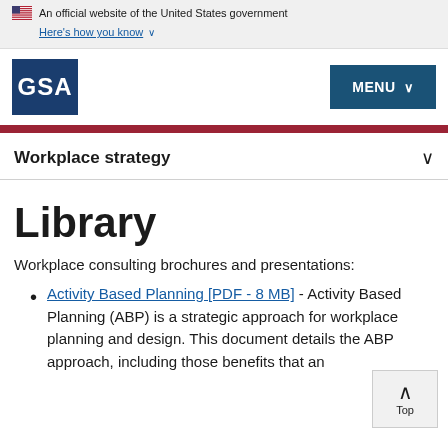An official website of the United States government. Here's how you know
[Figure (logo): GSA (General Services Administration) logo — white text 'GSA' on dark blue square background, with MENU button top right]
Workplace strategy
Library
Workplace consulting brochures and presentations:
Activity Based Planning [PDF - 8 MB] - Activity Based Planning (ABP) is a strategic approach for workplace planning and design. This document details the ABP approach, including those benefits that an